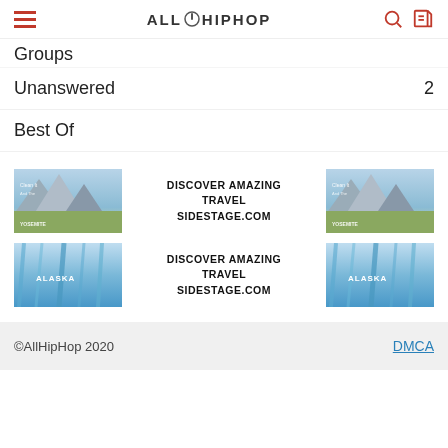AllHipHop
Groups
Unanswered   2
Best Of
[Figure (infographic): Ad banner: Yosemite landscape image on left and right, center text DISCOVER AMAZING TRAVEL SIDESTAGE.COM]
[Figure (infographic): Ad banner: Alaska glacier image on left and right, center text DISCOVER AMAZING TRAVEL SIDESTAGE.COM]
©AllHipHop 2020   DMCA